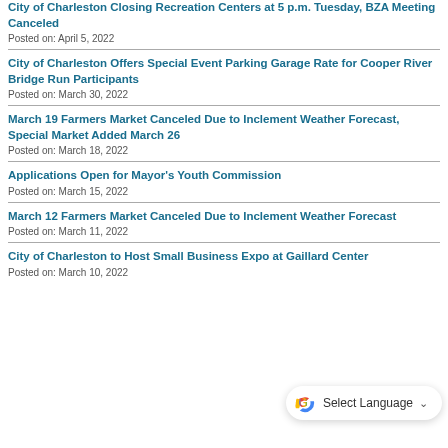City of Charleston Closing Recreation Centers at 5 p.m. Tuesday, BZA Meeting Canceled
Posted on: April 5, 2022
City of Charleston Offers Special Event Parking Garage Rate for Cooper River Bridge Run Participants
Posted on: March 30, 2022
March 19 Farmers Market Canceled Due to Inclement Weather Forecast, Special Market Added March 26
Posted on: March 18, 2022
Applications Open for Mayor's Youth Commission
Posted on: March 15, 2022
March 12 Farmers Market Canceled Due to Inclement Weather Forecast
Posted on: March 11, 2022
City of Charleston to Host Small Business Expo at Gaillard Center
Posted on: March 10, 2022